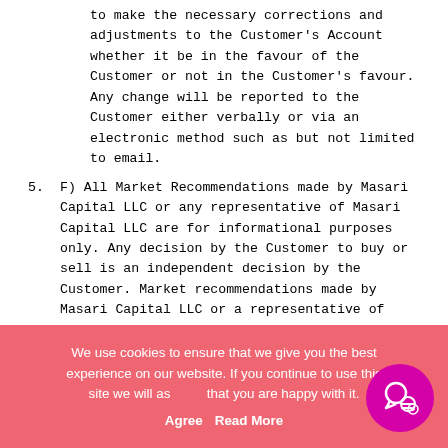to make the necessary corrections and adjustments to the Customer's Account whether it be in the favour of the Customer or not in the Customer's favour. Any change will be reported to the Customer either verbally or via an electronic method such as but not limited to email.
5. F) All Market Recommendations made by Masari Capital LLC or any representative of Masari Capital LLC are for informational purposes only. Any decision by the Customer to buy or sell is an independent decision by the Customer. Market recommendations made by Masari Capital LLC or a representative of Masari Capital LLC do not constitute an offer to sell or buy from Masari Capital LLC or from any other source that may provide straight-through processing prices to the Customer. Masari Capital LLC and its employees are not investment advisor(s) and have no fiduciary duty to Customer and therefore are not liable for any losses incurred by the Customer as a result of information...
We use cookies to ensure that we give you the best experience on our website. If you continue to use this site we will assume that you are happy with it. Agree   Read More